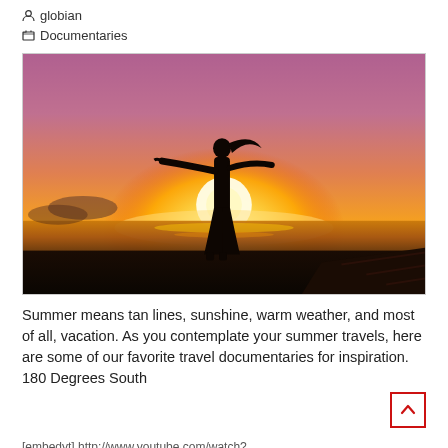globian
Documentaries
[Figure (photo): Silhouette of a woman with arms outstretched standing on a pier or dock at sunset over the ocean. The sky is a gradient from purple/pink at top to bright golden yellow near the horizon, with a large bright sun behind the figure. Water and wooden dock structure visible.]
Summer means tan lines, sunshine, warm weather, and most of all, vacation. As you contemplate your summer travels, here are some of our favorite travel documentaries for inspiration. 180 Degrees South [embedyt] http://www.youtube.com/watch?